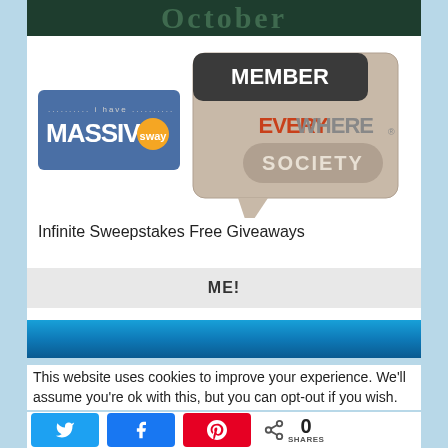[Figure (screenshot): Top dark green banner with stylized text]
[Figure (logo): i have MASSIVE Sway logo badge in blue/orange]
[Figure (logo): Member Everywhere Society speech bubble logo]
Infinite Sweepstakes Free Giveaways
[Figure (screenshot): ME! button in light gray bar]
[Figure (screenshot): Blue gradient banner image]
This website uses cookies to improve your experience. We'll assume you're ok with this, but you can opt-out if you wish.
[Figure (infographic): Social share buttons: Twitter, Facebook, Pinterest, and share count showing 0 SHARES]